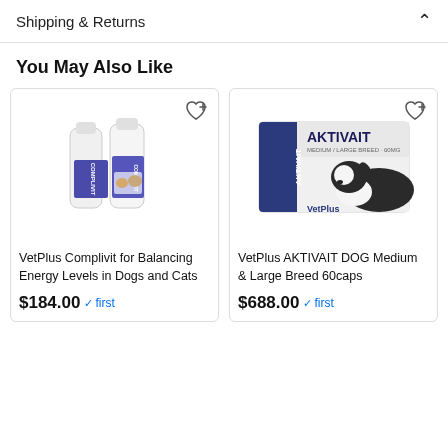Shipping & Returns
You May Also Like
[Figure (photo): Two white bottles of VetPlus Complivit product with blue label, showing cats and dogs]
VetPlus Complivit for Balancing Energy Levels in Dogs and Cats
$184.00 ✓ first
[Figure (photo): Box of VetPlus AKTIVAIT Medium/Large Breed product with a black and white dog lying down]
VetPlus AKTIVAIT DOG Medium & Large Breed 60caps
$688.00 ✓ first